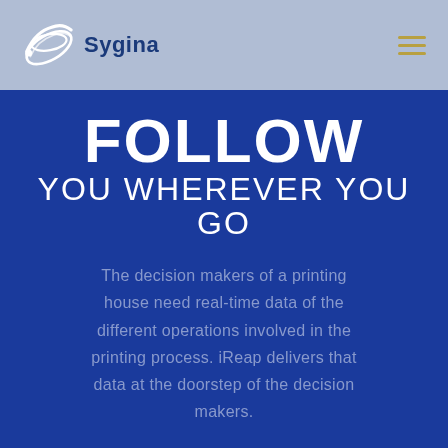[Figure (logo): Sygina company logo with swoosh graphic and company name in dark blue text on light blue background]
FOLLOW YOU WHEREVER YOU GO
The decision makers of a printing house need real-time data of the different operations involved in the printing process. iReap delivers that data at the doorstep of the decision makers.